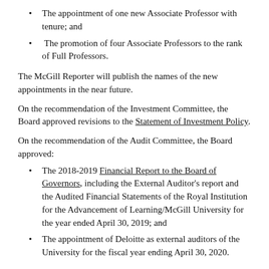The appointment of one new Associate Professor with tenure; and
The promotion of four Associate Professors to the rank of Full Professors.
The McGill Reporter will publish the names of the new appointments in the near future.
On the recommendation of the Investment Committee, the Board approved revisions to the Statement of Investment Policy.
On the recommendation of the Audit Committee, the Board approved:
The 2018-2019 Financial Report to the Board of Governors, including the External Auditor's report and the Audited Financial Statements of the Royal Institution for the Advancement of Learning/McGill University for the year ended April 30, 2019; and
The appointment of Deloitte as external auditors of the University for the fiscal year ending April 30, 2020.
On the recommendation of the Building and Property Committee, the Board approved: